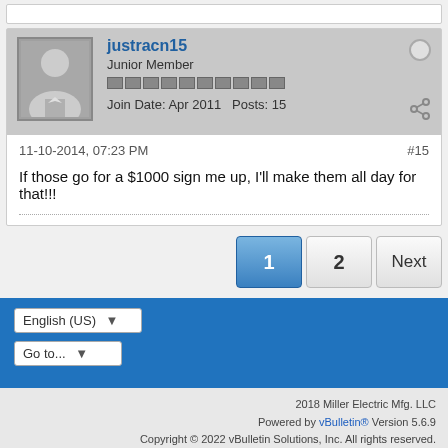justracn15
Junior Member
Join Date: Apr 2011   Posts: 15
11-10-2014, 07:23 PM
#15
If those go for a $1000 sign me up, I'll make them all day for that!!!
1  2  Next
English (US)
Go to...
2018 Miller Electric Mfg. LLC
Powered by vBulletin® Version 5.6.9
Copyright © 2022 vBulletin Solutions, Inc. All rights reserved.
All times are GMT-6. This page was generated at 04:25 PM.